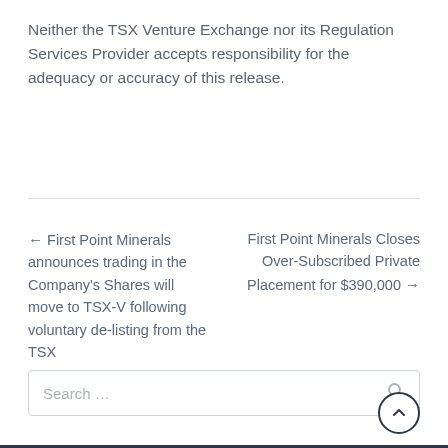Neither the TSX Venture Exchange nor its Regulation Services Provider accepts responsibility for the adequacy or accuracy of this release.
← First Point Minerals announces trading in the Company's Shares will move to TSX-V following voluntary de-listing from the TSX
First Point Minerals Closes Over-Subscribed Private Placement for $390,000 →
Search ...